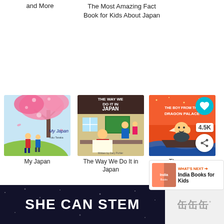and More
The Most Amazing Fact Book for Kids About Japan
[Figure (illustration): Book cover: My Japan - illustration of two children under a pink cherry blossom tree on a green hill with blue sky]
My Japan
[Figure (illustration): Book cover: The Way We Do It in Japan - illustration of a boy in a classroom setting in Japan]
The Way We Do It in Japan
[Figure (illustration): Book cover: The Boy from the Dragon Palace - illustration of a fat boy on a boat with dragon palace imagery on orange background; overlaid with heart button, 4.5K count badge, and share button]
The Boy from the Dragon Palace (partially visible)
[Figure (screenshot): What's Next recommendation banner showing India Books for Kids with thumbnail]
[Figure (illustration): Bottom advertisement banner: dark background with SHE CAN STEM text on left, light gray panel with stylized text logo on right]